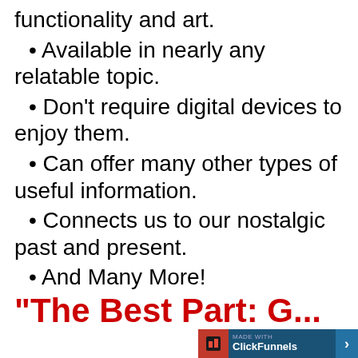functionality and art.
Available in nearly any relatable topic.
Don't require digital devices to enjoy them.
Can offer many other types of useful information.
Connects us to our nostalgic past and present.
And Many More!
“The Best Part: G...